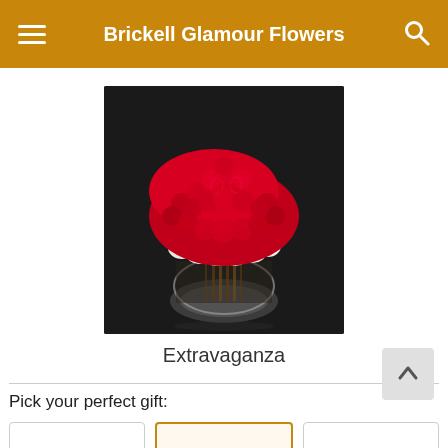Brickell Glamour Flowers
[Figure (photo): Large arrangement of red roses on top with white flowers around the base in a round clear glass vase, photographed on a dark background]
Extravaganza
Pick your perfect gift: